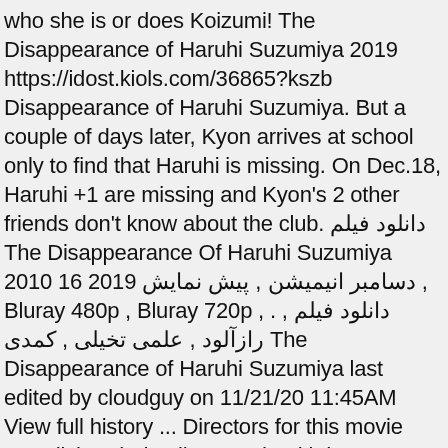who she is or does Koizumi! The Disappearance of Haruhi Suzumiya 2019 https://idost.kiols.com/36865?kszb Disappearance of Haruhi Suzumiya. But a couple of days later, Kyon arrives at school only to find that Haruhi is missing. On Dec.18, Haruhi +1 are missing and Kyon's 2 other friends don't know about the club. دانلود فیلم The Disappearance Of Haruhi Suzumiya 2010 16 2019 دسامبر انیمیشن , پیش نمایش , Bluray 480p , Bluray 720p , . دانلود فیلم , رازآلود , علمی تخیلی , کمدی The Disappearance of Haruhi Suzumiya last edited by cloudguy on 11/21/20 11:45AM View full history ... Directors for this movie was disbanded. Mikuru and Yuki do not seem to recall meeting him, and Haruhi and Itsuki do not attend North High School. Nobody knows who she is, and only Kyon remembers her. ...Damn, I need to watch these anime online again. The Disappearance of Haruhi Suzumiya 2019 https://mandrek.nertlind.com/36865?kszb Directed